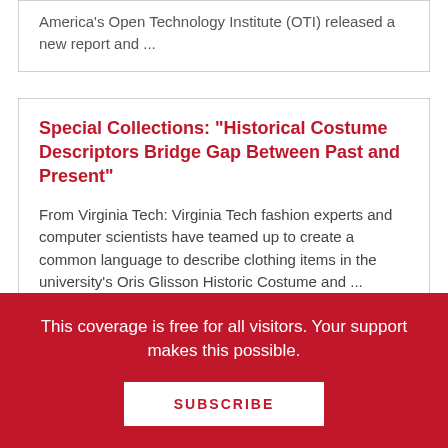America's Open Technology Institute (OTI) released a new report and ...
Special Collections: "Historical Costume Descriptors Bridge Gap Between Past and Present"
From Virginia Tech: Virginia Tech fashion experts and computer scientists have teamed up to create a common language to describe clothing items in the university's Oris Glisson Historic Costume and ...
This coverage is free for all visitors. Your support makes this possible.
SUBSCRIBE